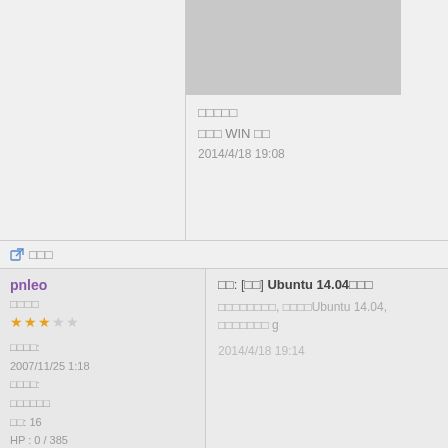[Figure (photo): Gray image placeholder in upper right area]
□□□□□
□□□ WIN □□
2014/4/18 19:08
□□□
pnleo
回覆: [□□] Ubuntu 14.04□□□
□□□□□□□□, □□□□Ubuntu 14.04, □□□□□□□ g
□□□□
2014/4/18 19:14
□□□□:
2007/11/25 1:18
□□□□:
□□□□□□
□□: 16
HP : 0 / 385